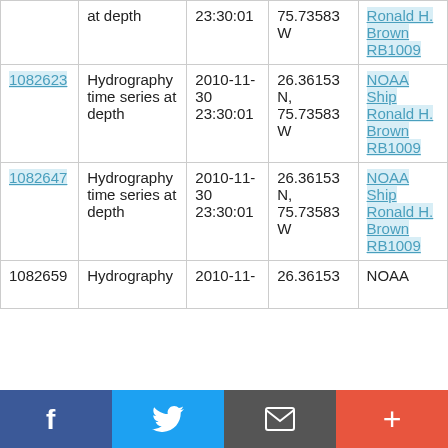| ID | Type | Date/Time | Location | Platform |
| --- | --- | --- | --- | --- |
|  | at depth | 23:30:01 | 75.73583 W | Ronald H. Brown RB1009 |
| 1082623 | Hydrography time series at depth | 2010-11-30 23:30:01 | 26.36153 N, 75.73583 W | NOAA Ship Ronald H. Brown RB1009 |
| 1082647 | Hydrography time series at depth | 2010-11-30 23:30:01 | 26.36153 N, 75.73583 W | NOAA Ship Ronald H. Brown RB1009 |
| 1082659 | Hydrography | 2010-11- | 26.36153 | NOAA |
Social share bar: Facebook, Twitter, Mail, +